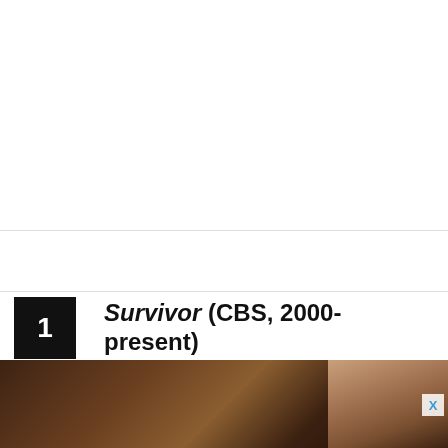1  Survivor (CBS, 2000-present)
[Figure (photo): A dark, dimly lit scene with a person visible on the right side, appearing to be a still from the TV show Survivor]